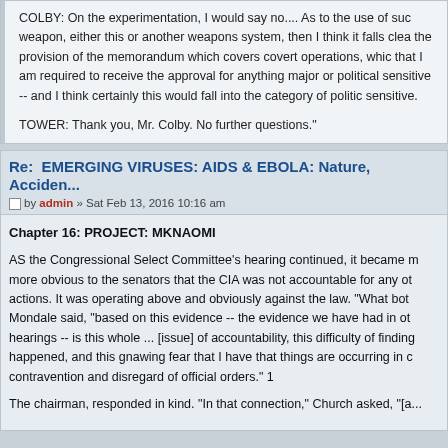COLBY: On the experimentation, I would say no.... As to the use of such weapon, either this or another weapons system, then I think it falls clear the provision of the memorandum which covers covert operations, whic that I am required to receive the approval for anything major or political sensitive -- and I think certainly this would fall into the category of politic sensitive.

TOWER: Thank you, Mr. Colby. No further questions."
Re: EMERGING VIRUSES: AIDS & EBOLA: Nature, Acciden...
by admin » Sat Feb 13, 2016 10:16 am
Chapter 16: PROJECT: MKNAOMI
AS the Congressional Select Committee's hearing continued, it became m more obvious to the senators that the CIA was not accountable for any ot actions. It was operating above and obviously against the law. "What bot Mondale said, "based on this evidence -- the evidence we have had in ot hearings -- is this whole ... [issue] of accountability, this difficulty of finding happened, and this gnawing fear that I have that things are occurring in c contravention and disregard of official orders." 1

The chairman, responded in kind. "In that connection," Church asked, "[a...